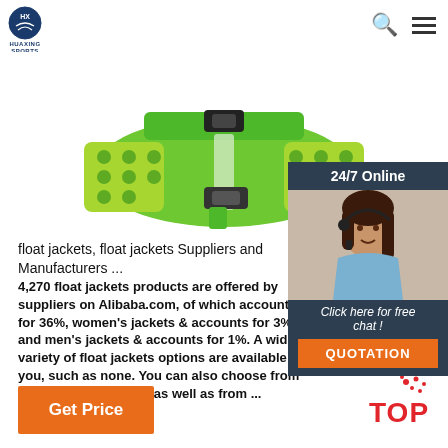HUAXING SPORTS
[Figure (photo): Green and yellow child float jacket/vest with black buckles and reflective strip, shown from front on white background]
[Figure (photo): 24/7 Online customer service widget showing a smiling woman with headset, dark background with 'Click here for free chat!' text and orange QUOTATION button]
float jackets, float jackets Suppliers and Manufacturers ...
4,270 float jackets products are offered by suppliers on Alibaba.com, of which accounts for 36%, women's jackets & accounts for 3%, and men's jackets & accounts for 1%. A wide variety of float jackets options are available to you, such as none. You can also choose from finished float jackets, as well as from ...
Get Price